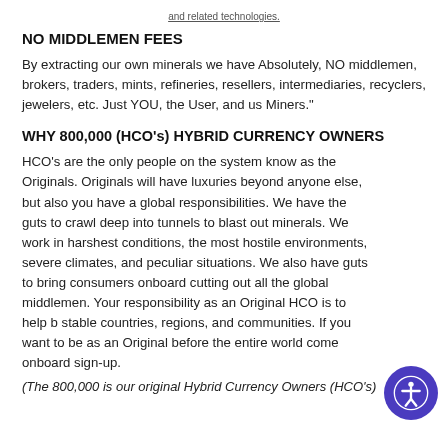and related technologies.
NO MIDDLEMEN FEES
By extracting our own minerals we have Absolutely, NO middlemen, brokers, traders, mints, refineries, resellers, intermediaries, recyclers, jewelers, etc. Just YOU, the User, and us Miners."
WHY 800,000 (HCO's) HYBRID CURRENCY OWNERS
HCO's are the only people on the system know as the Originals. Originals will have luxuries beyond anyone else, but also you have a global responsibilities. We have the guts to crawl deep into tunnels to blast out minerals. We work in harshest conditions, the most hostile environments, severe climates, and peculiar situations. We also have guts to bring consumers onboard cutting out all the global middlemen. Your responsibility as an Original HCO is to help b stable countries, regions, and communities. If you want to be as an Original before the entire world come onboard sign-up.
(The 800,000 is our original Hybrid Currency Owners (HCO's)